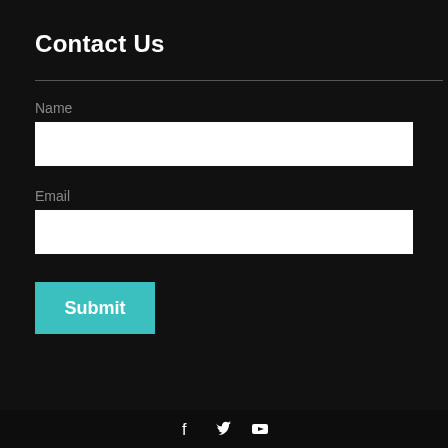Contact Us
Name
Email
Submit
Social media icons: Facebook, Twitter, YouTube